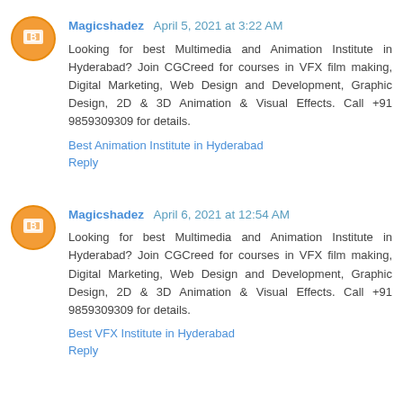Magicshadez  April 5, 2021 at 3:22 AM
Looking for best Multimedia and Animation Institute in Hyderabad? Join CGCreed for courses in VFX film making, Digital Marketing, Web Design and Development, Graphic Design, 2D & 3D Animation & Visual Effects. Call +91 9859309309 for details.
Best Animation Institute in Hyderabad
Reply
Magicshadez  April 6, 2021 at 12:54 AM
Looking for best Multimedia and Animation Institute in Hyderabad? Join CGCreed for courses in VFX film making, Digital Marketing, Web Design and Development, Graphic Design, 2D & 3D Animation & Visual Effects. Call +91 9859309309 for details.
Best VFX Institute in Hyderabad
Reply